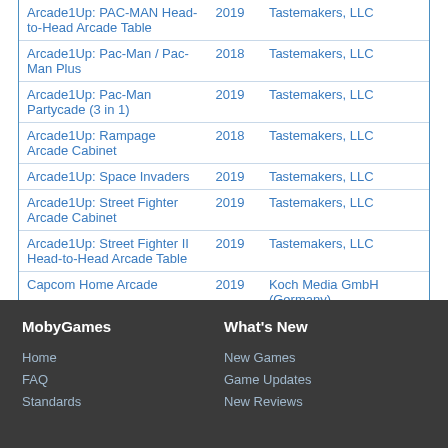| Title | Year | Publisher |
| --- | --- | --- |
| Arcade1Up: PAC-MAN Head-to-Head Arcade Table | 2019 | Tastemakers, LLC |
| Arcade1Up: Pac-Man / Pac-Man Plus | 2018 | Tastemakers, LLC |
| Arcade1Up: Pac-Man Partycade (3 in 1) | 2019 | Tastemakers, LLC |
| Arcade1Up: Rampage Arcade Cabinet | 2018 | Tastemakers, LLC |
| Arcade1Up: Space Invaders | 2019 | Tastemakers, LLC |
| Arcade1Up: Street Fighter Arcade Cabinet | 2019 | Tastemakers, LLC |
| Arcade1Up: Street Fighter II Head-to-Head Arcade Table | 2019 | Tastemakers, LLC |
| Capcom Home Arcade | 2019 | Koch Media GmbH (Germany) |
| Heroic Tank | 1977 | Accurate Electronics Industry Ltd. (Conic), Markint |
| SEGA Genesis Mini | 2019 | SEGA Games Co., Ltd. |
| Star Trek Phaser Battle | 1976 | Mego Corporation |
MobyGames | What's New | Home | FAQ | Standards | New Games | Game Updates | New Reviews